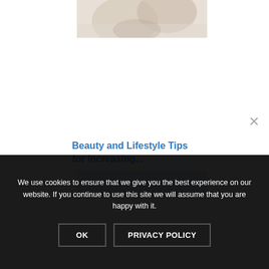[Figure (photo): Close-up photo of hands (skin/beauty related), cropped at top of page]
Beauty and Lifestyle Tips for Increasing...
[Figure (photo): Partial view of another image, light blue/gray gradient, cropped at bottom]
We use cookies to ensure that we give you the best experience on our website. If you continue to use this site we will assume that you are happy with it.
OK   PRIVACY POLICY